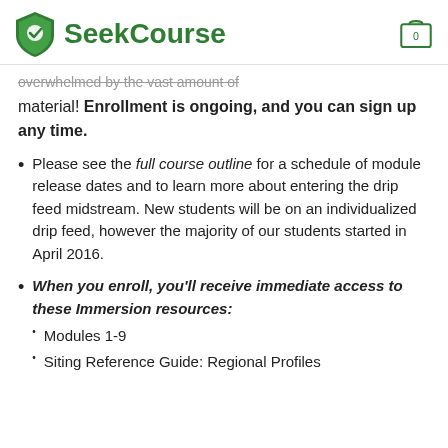SeekCourse
overwhelmed by the vast amount of material! Enrollment is ongoing, and you can sign up any time.
Please see the full course outline for a schedule of module release dates and to learn more about entering the drip feed midstream. New students will be on an individualized drip feed, however the majority of our students started in April 2016.
When you enroll, you'll receive immediate access to these Immersion resources:
Modules 1-9
Siting Reference Guide: Regional Profiles